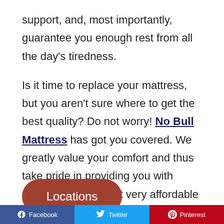support, and, most importantly, guarantee you enough rest from all the day's tiredness. Is it time to replace your mattress, but you aren't sure where to get the best quality? Do not worry! No Bull Mattress has got you covered. We greatly value your comfort and thus take pride in providing you with quality mattresses at very affordable prices. Contact us today and get a chance to enjoy top-notch customer service.
[Figure (other): Locations button - a rounded rectangle button with brown/terracotta background and white text reading 'Locations']
[Figure (other): Social sharing buttons row: Facebook (blue), Twitter (light blue), Pinterest (red)]